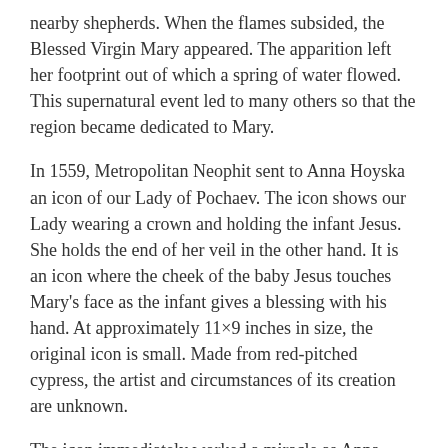nearby shepherds. When the flames subsided, the Blessed Virgin Mary appeared. The apparition left her footprint out of which a spring of water flowed. This supernatural event led to many others so that the region became dedicated to Mary.
In 1559, Metropolitan Neophit sent to Anna Hoyska an icon of our Lady of Pochaev. The icon shows our Lady wearing a crown and holding the infant Jesus. She holds the end of her veil in the other hand. It is an icon where the cheek of the baby Jesus touches Mary's face as the infant gives a blessing with his hand. At approximately 11×9 inches in size, the original icon is small. Made from red-pitched cypress, the artist and circumstances of its creation are unknown.
The icon immediately worked a miracle as Anna Hoyska's blind brother regained his sight. Following her death, the icon was donated to a Basilian Monastery and eventually placed in the Church of the Dormition of the Blessed Mother. Monastery chronicles record numerous miracles during the